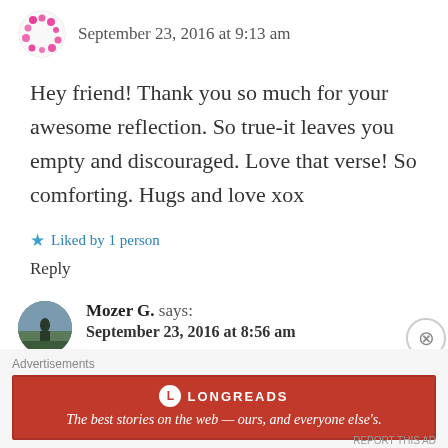September 23, 2016 at 9:13 am
Hey friend! Thank you so much for your awesome reflection. So true-it leaves you empty and discouraged. Love that verse! So comforting. Hugs and love xox
★ Liked by 1 person
Reply
Mozer G. says:
September 23, 2016 at 8:56 am
Advertisements
[Figure (logo): Longreads advertisement banner: red background with Longreads logo and tagline 'The best stories on the web — ours, and everyone else's.']